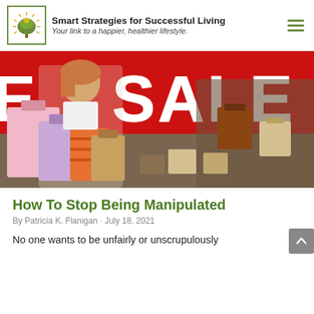Smart Strategies for Successful Living · Your link to a happier, healthier lifestyle.
[Figure (photo): Woman holding multiple shopping bags in front of a store window with a large red SALE sign]
How To Stop Being Manipulated
By Patricia K. Flanigan · July 18, 2021
No one wants to be unfairly or unscrupulously manipulated. So read on to learn...